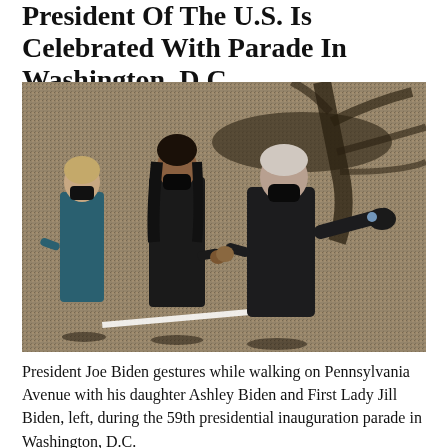President Of The U.S. Is Celebrated With Parade In Washington, D.C.
[Figure (photo): President Joe Biden gestures while walking on Pennsylvania Avenue with his daughter Ashley Biden and First Lady Jill Biden, left, during the 59th presidential inauguration parade in Washington, D.C. Three figures wearing black masks walk on a street, with long shadows cast on the ground.]
President Joe Biden gestures while walking on Pennsylvania Avenue with his daughter Ashley Biden and First Lady Jill Biden, left, during the 59th presidential inauguration parade in Washington, D.C.